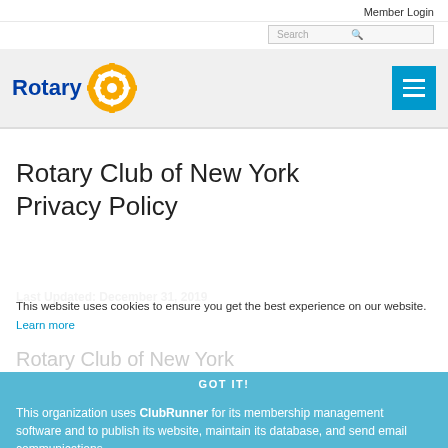Member Login
[Figure (logo): Rotary logo with gear icon and 'Rotary' text in dark blue, and a hamburger/menu button in teal blue on the right]
Rotary Club of New York Privacy Policy
Last Updated: December 31, 2019
This website uses cookies to ensure you get the best experience on our website. Learn more
Rotary Club of New York
GOT IT!
This organization uses ClubRunner for its membership management software and to publish its website, maintain its database, and send email communications.